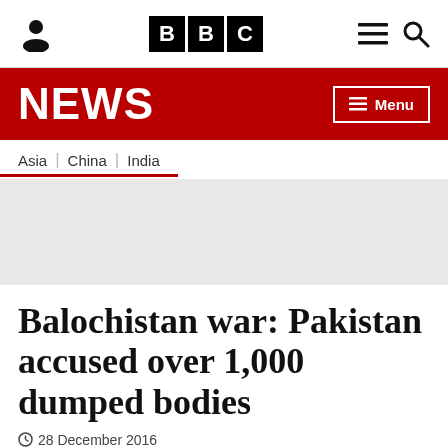BBC NEWS
NEWS
Asia | China | India
[Figure (other): Grey image placeholder area]
Balochistan war: Pakistan accused over 1,000 dumped bodies
28 December 2016